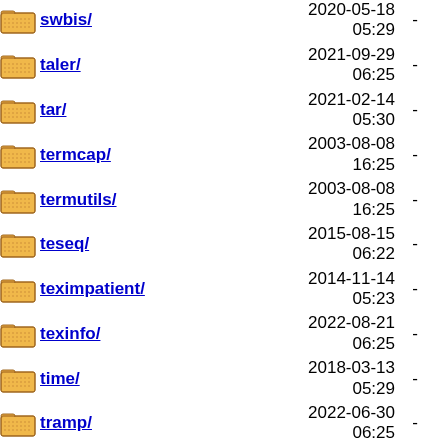swbis/ 2020-05-18 05:29 -
taler/ 2021-09-29 06:25 -
tar/ 2021-02-14 05:30 -
termcap/ 2003-08-08 16:25 -
termutils/ 2003-08-08 16:25 -
teseq/ 2015-08-15 06:22 -
teximpatient/ 2014-11-14 05:23 -
texinfo/ 2022-08-21 06:25 -
time/ 2018-03-13 05:29 -
tramp/ 2022-06-30 06:25 -
trueprint/ 2013-03-12 05:21 -
unifont/ 2022-06-05 -